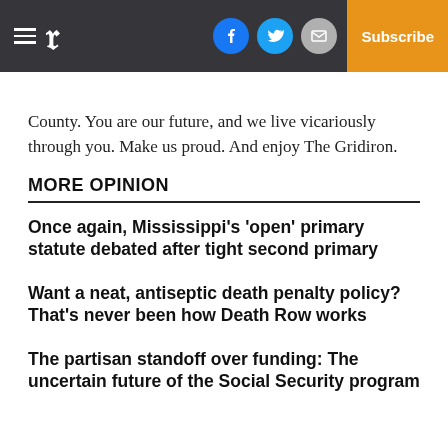P — Subscribe
County. You are our future, and we live vicariously through you. Make us proud. And enjoy The Gridiron.
MORE OPINION
Once again, Mississippi's 'open' primary statute debated after tight second primary
Want a neat, antiseptic death penalty policy? That's never been how Death Row works
The partisan standoff over funding: The uncertain future of the Social Security program